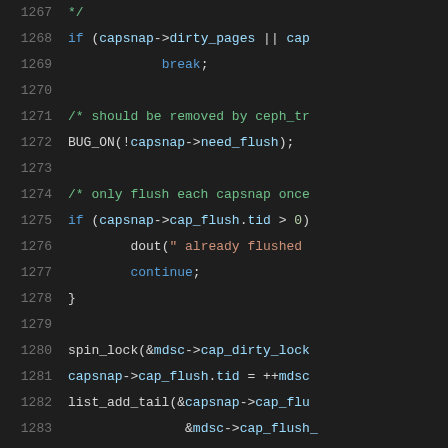[Figure (screenshot): Source code listing (C kernel code) showing lines 1267-1287, dark background IDE view. Lines include capsnap dirty_pages check, BUG_ON, cap_flush tid checks, spin_lock, list_add_tail, and related logic.]